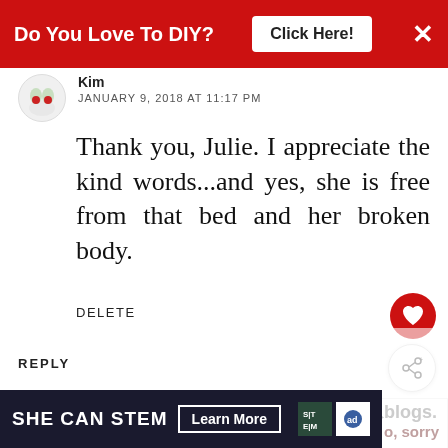[Figure (screenshot): Red advertisement banner: 'Do You Love To DIY? Click Here!' with X close button]
Kim
JANUARY 9, 2018 AT 11:17 PM
Thank you, Julie. I appreciate the kind words...and yes, she is free from that bed and her broken body.
DELETE
REPLY
Brenda Pruitt
JANUARY 9, 2018 AT 1:38 PM
[Figure (screenshot): WHAT'S NEXT → Easy DIY Mother's Da... with thumbnail image]
[Figure (screenshot): SHE CAN STEM Learn More advertisement banner with STEM and Ad Council logos]